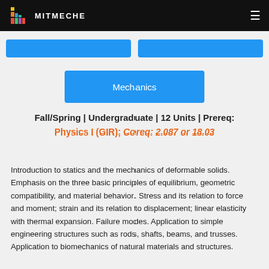MITMECHE
[Figure (other): Two partially visible blue button elements at top of content area]
Mechanics
Fall/Spring | Undergraduate | 12 Units | Prereq: Physics I (GIR); Coreq: 2.087 or 18.03
Introduction to statics and the mechanics of deformable solids. Emphasis on the three basic principles of equilibrium, geometric compatibility, and material behavior. Stress and its relation to force and moment; strain and its relation to displacement; linear elasticity with thermal expansion. Failure modes. Application to simple engineering structures such as rods, shafts, beams, and trusses. Application to biomechanics of natural materials and structures.